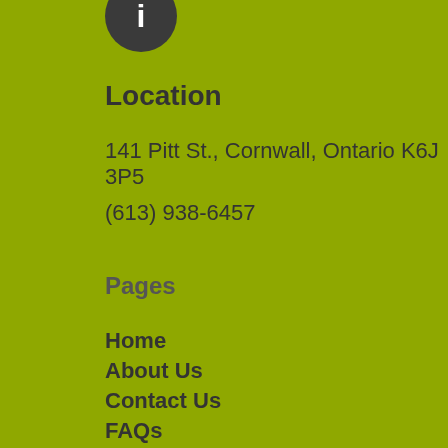[Figure (illustration): Dark gray circular icon with the letter 'i' in white, partially cropped at the top of the page]
Location
141 Pitt St., Cornwall, Ontario K6J 3P5
(613) 938-6457
Pages
Home
About Us
Contact Us
FAQs
Privacy